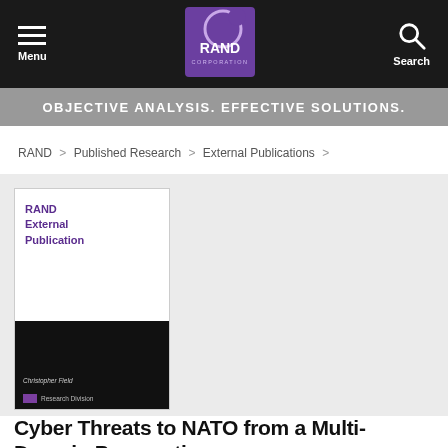[Figure (logo): RAND Corporation website header with hamburger menu, RAND logo in purple square, and search icon on dark background]
OBJECTIVE ANALYSIS. EFFECTIVE SOLUTIONS.
RAND > Published Research > External Publications >
[Figure (photo): RAND External Publication book cover — white top half with purple 'RAND External Publication' text, black bottom half with author name Christopher Field and Research Division footer]
Cyber Threats to NATO from a Multi-Domain Perspective